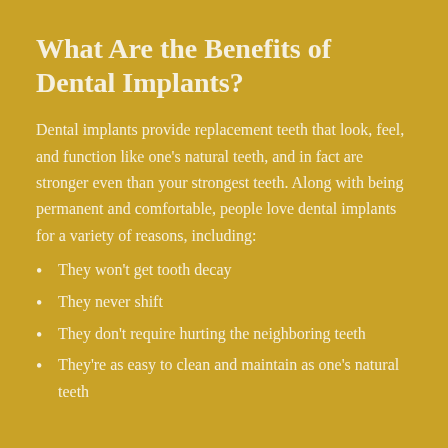What Are the Benefits of Dental Implants?
Dental implants provide replacement teeth that look, feel, and function like one's natural teeth, and in fact are stronger even than your strongest teeth. Along with being permanent and comfortable, people love dental implants for a variety of reasons, including:
They won't get tooth decay
They never shift
They don't require hurting the neighboring teeth
They're as easy to clean and maintain as one's natural teeth